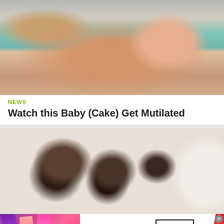[Figure (photo): Photo of a newborn baby lying on a blue towel being attended to by medical hands]
NEWS
Watch this Baby (Cake) Get Mutilated
[Figure (photo): Close-up photo of hands working with black fondant balls on a wooden cutting board, with white fondant visible on the right]
[Figure (photo): MAC cosmetics advertisement showing lipsticks, MAC logo, and SHOP NOW button]